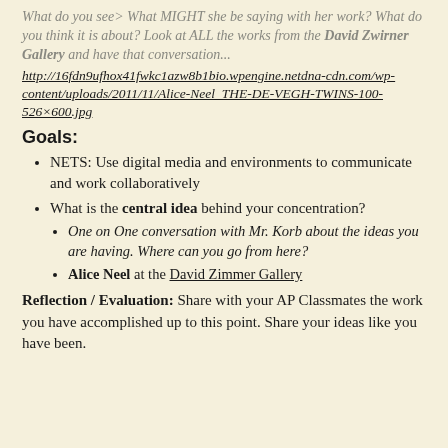What do you see> What MIGHT she be saying with her work? What do you think it is about? Look at ALL the works from the David Zwirner Gallery and have that conversation...
http://16fdn9ufhox41fwkc1azw8b1bio.wpengine.netdna-cdn.com/wp-content/uploads/2011/11/Alice-Neel_THE-DE-VEGH-TWINS-100-526×600.jpg
Goals:
NETS: Use digital media and environments to communicate and work collaboratively
What is the central idea behind your concentration?
One on One conversation with Mr. Korb about the ideas you are having. Where can you go from here?
Alice Neel at the David Zimmer Gallery
Reflection / Evaluation: Share with your AP Classmates the work you have accomplished up to this point. Share your ideas like you have been.